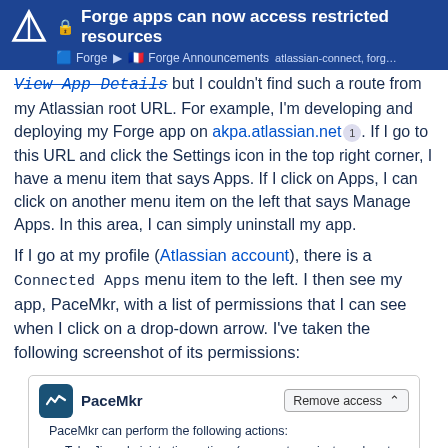Forge apps can now access restricted resources — Forge > Forge Announcements > atlassian-connect, forg…
View App Details but I couldn't find such a route from my Atlassian root URL. For example, I'm developing and deploying my Forge app on akpa.atlassian.net. If I go to this URL and click the Settings icon in the top right corner, I have a menu item that says Apps. If I click on Apps, I can click on another menu item on the left that says Manage Apps. In this area, I can simply uninstall my app.
If I go at my profile (Atlassian account), there is a Connected Apps menu item to the left. I then see my app, PaceMkr, with a list of permissions that I can see when I click on a drop-down arrow. I've taken the following screenshot of its permissions:
[Figure (screenshot): Screenshot of PaceMkr app permissions panel showing 'Remove access' button and list of permissions including Jira administration actions and project settings.]
9 / 17